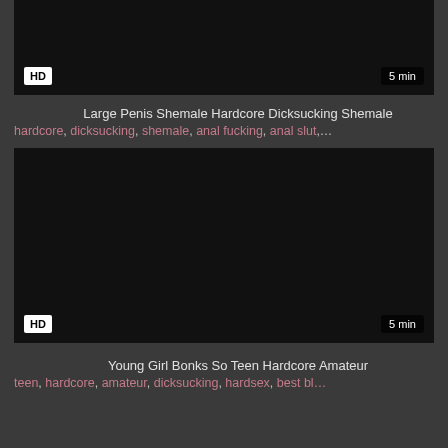[Figure (screenshot): Dark video thumbnail with HD badge bottom-left and 5 min badge bottom-right]
Large Penis Shemale Hardcore Dicksucking Shemale
hardcore, dicksucking, shemale, anal fucking, anal slut,…
[Figure (screenshot): Dark video thumbnail with HD badge bottom-left and 5 min badge bottom-right]
Young Girl Bonks So Teen Hardcore Amateur
teen, hardcore, amateur, dicksucking, hardsex, best bl…